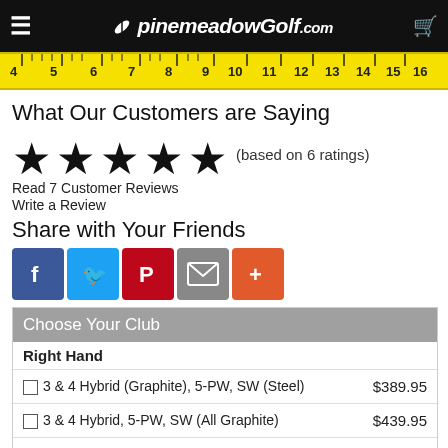pinemeadowGolf.com
[Figure (photo): Yellow ruler measuring tape showing numbers 4 through 18]
What Our Customers are Saying
[Figure (infographic): 5 black stars rating with text (based on 6 ratings)]
Read 7 Customer Reviews
Write a Review
Share with Your Friends
[Figure (infographic): Social share buttons: Facebook, Twitter, Pinterest, Email, More]
| Choose Your Club |  |
| --- | --- |
| Right Hand |  |
| ☐ 3 & 4 Hybrid (Graphite), 5-PW, SW (Steel) | $389.95 |
| ☐ 3 & 4 Hybrid, 5-PW, SW (All Graphite) | $439.95 |
| ☐ 3, 4 & 5 Hybrid (Graphite), 6-PW, SW (Steel) | $449.95 |